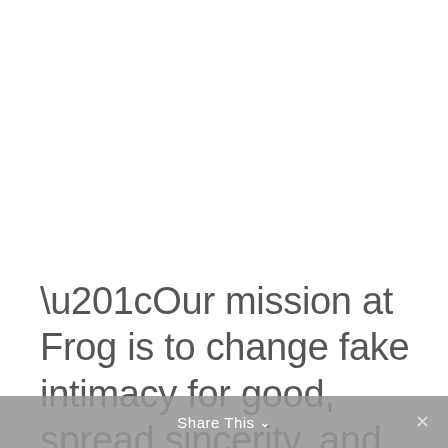“Our mission at Frog is to change fake intimacy for good, spread sincerity, and connect people more authentically. The
Share This ∨ ×